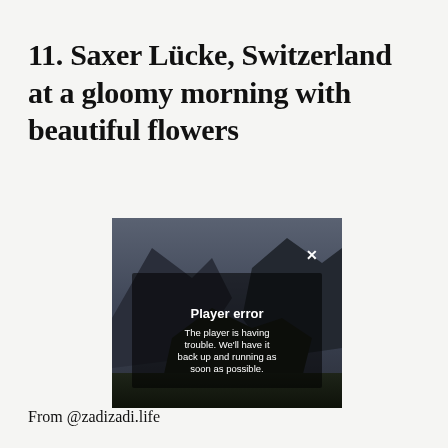11. Saxer Lücke, Switzerland at a gloomy morning with beautiful flowers
[Figure (screenshot): A dark, moody landscape photo showing rocky mountains in a gloomy atmosphere, overlaid with a video player error message dialog. The dialog shows an X close button in the upper right, bold white text 'Player error' in the center, and body text reading 'The player is having trouble. We'll have it back up and running as soon as possible.']
From @zadizadi.life